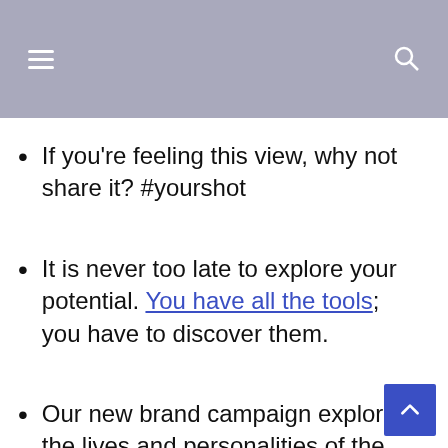If you’re feeling this view, why not share it? #yourshot
It is never too late to explore your potential. You have all the tools; you have to discover them.
Our new brand campaign explores the lives and personalities of the individuals who live and work here –